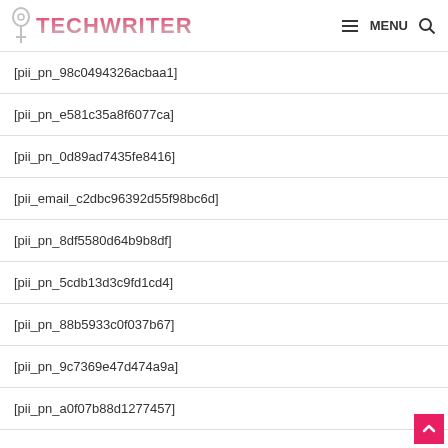TECHWRITER MENU
[pii_pn_98c0494326acbaa1]
[pii_pn_e581c35a8f6077ca]
[pii_pn_0d89ad7435fe8416]
[pii_email_c2dbc96392d55f98bc6d]
[pii_pn_8df5580d64b9b8df]
[pii_pn_5cdb13d3c9fd1cd4]
[pii_pn_88b5933c0f037b67]
[pii_pn_9c7369e47d474a9a]
[pii_pn_a0f07b88d1277457]